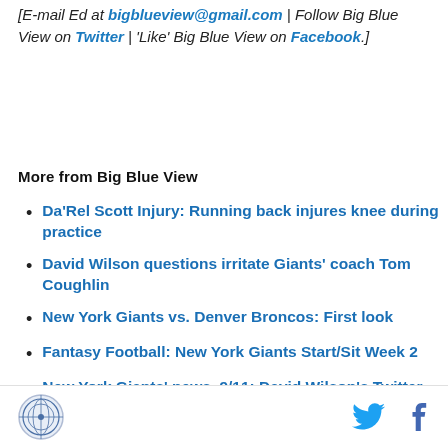[E-mail Ed at bigblueview@gmail.com | Follow Big Blue View on Twitter | 'Like' Big Blue View on Facebook.]
More from Big Blue View
Da'Rel Scott Injury: Running back injures knee during practice
David Wilson questions irritate Giants' coach Tom Coughlin
New York Giants vs. Denver Broncos: First look
Fantasy Football: New York Giants Start/Sit Week 2
New York Giants' news, 9/11: David Wilson's Twitter rant ill-advised
Big Blue View logo, Twitter icon, Facebook icon